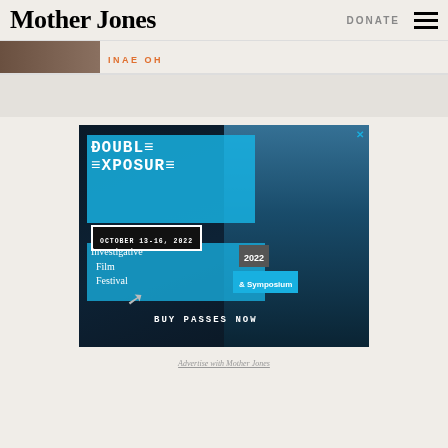Mother Jones | DONATE
INAE OH
[Figure (photo): Small cropped photo of a person, partially visible at top left of author bar]
[Figure (infographic): Double Exposure Investigative Film Festival & Symposium 2022 advertisement. October 13-16, 2022. Buy Passes Now.]
Advertise with Mother Jones